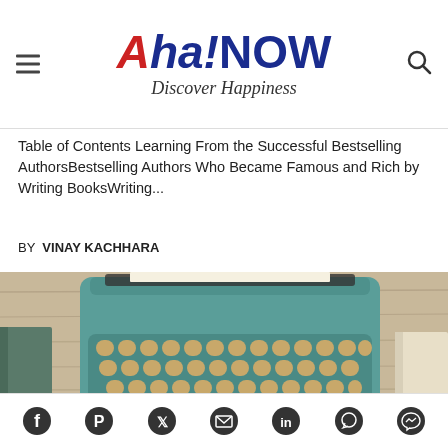Aha!NOW Discover Happiness
Table of Contents Learning From the Successful Bestselling AuthorsBestselling Authors Who Became Famous and Rich by Writing BooksWriting...
BY VINAY KACHHARA
[Figure (photo): A teal/turquoise vintage typewriter viewed from above on a wooden surface, with books on the sides. Red italic text overlay reads 'What Stops You']
Social sharing icons: Facebook, Pinterest, Twitter, Email, LinkedIn, WhatsApp, Messenger